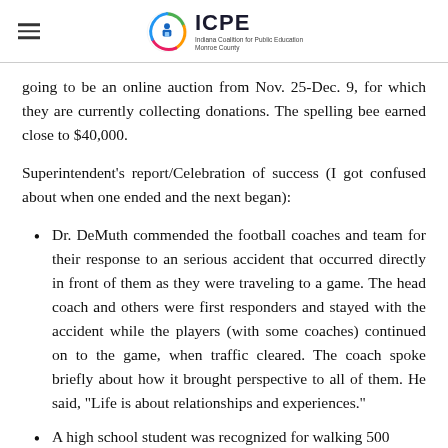ICPE — Indiana Coalition for Public Education Monroe County
going to be an online auction from Nov. 25-Dec. 9, for which they are currently collecting donations. The spelling bee earned close to $40,000.
Superintendent's report/Celebration of success (I got confused about when one ended and the next began):
Dr. DeMuth commended the football coaches and team for their response to an serious accident that occurred directly in front of them as they were traveling to a game. The head coach and others were first responders and stayed with the accident while the players (with some coaches) continued on to the game, when traffic cleared. The coach spoke briefly about how it brought perspective to all of them. He said, "Life is about relationships and experiences."
A high school student was recognized for walking 500